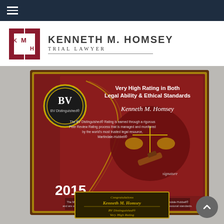Navigation bar with hamburger menu
[Figure (logo): KMH logo with letters K, M, H in red bracket design, followed by 'KENNETH M. HOMSEY Trial Lawyer' text]
[Figure (photo): BV Distinguished award plaque for Kenneth M. Homsey, 2015, Very High Rating in Both Legal Ability & Ethical Standards, awarded by Martindale-Hubbell]